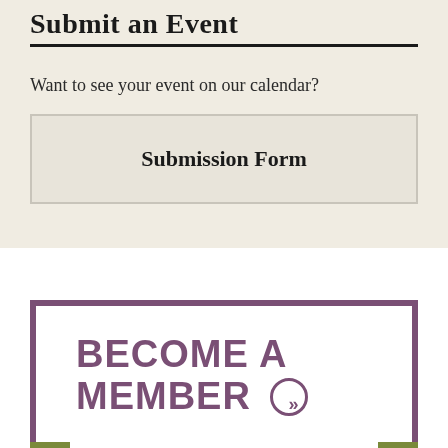Submit an Event
Want to see your event on our calendar?
Submission Form
BECOME A MEMBER »